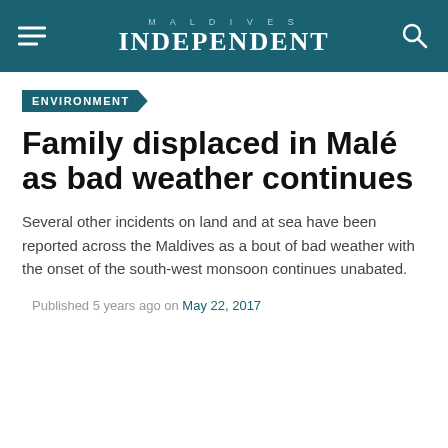MALDIVES INDEPENDENT
ENVIRONMENT
Family displaced in Malé as bad weather continues
Several other incidents on land and at sea have been reported across the Maldives as a bout of bad weather with the onset of the south-west monsoon continues unabated.
Published 5 years ago on May 22, 2017